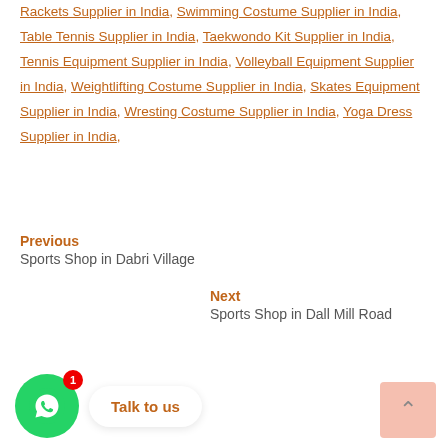Rackets Supplier in India, Swimming Costume Supplier in India, Table Tennis Supplier in India, Taekwondo Kit Supplier in India, Tennis Equipment Supplier in India, Volleyball Equipment Supplier in India, Weightlifting Costume Supplier in India, Skates Equipment Supplier in India, Wresting Costume Supplier in India, Yoga Dress Supplier in India,
Previous
Sports Shop in Dabri Village
Next
Sports Shop in Dall Mill Road
[Figure (other): WhatsApp chat button with green circle icon, red badge showing 1, and 'Talk to us' label in orange]
[Figure (other): Scroll to top button with upward arrow, light salmon/peach background]